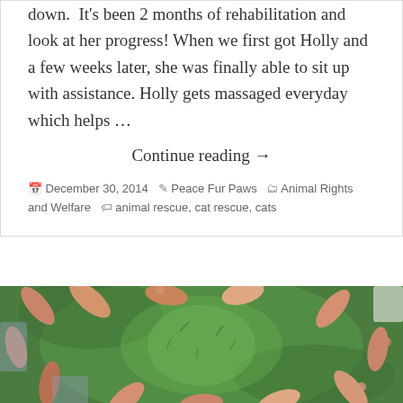down.  It's been 2 months of rehabilitation and look at her progress! When we first got Holly and a few weeks later, she was finally able to sit up with assistance. Holly gets massaged everyday which helps …
Continue reading →
December 30, 2014 · Peace Fur Paws · Animal Rights and Welfare · animal rescue, cat rescue, cats
[Figure (photo): Overhead photo of multiple people's bare feet and hands arranged in a circle on green grass, pointing toward the center.]